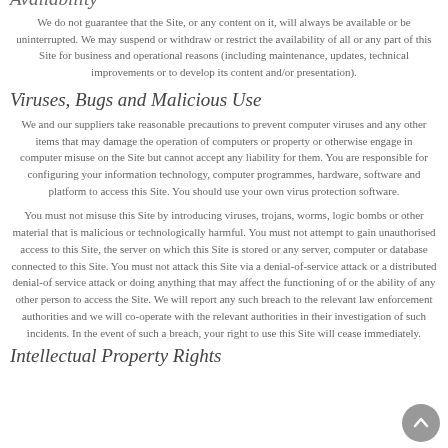Availability
We do not guarantee that the Site, or any content on it, will always be available or be uninterrupted. We may suspend or withdraw or restrict the availability of all or any part of this Site for business and operational reasons (including maintenance, updates, technical improvements or to develop its content and/or presentation).
Viruses, Bugs and Malicious Use
We and our suppliers take reasonable precautions to prevent computer viruses and any other items that may damage the operation of computers or property or otherwise engage in computer misuse on the Site but cannot accept any liability for them. You are responsible for configuring your information technology, computer programmes, hardware, software and platform to access this Site. You should use your own virus protection software.
You must not misuse this Site by introducing viruses, trojans, worms, logic bombs or other material that is malicious or technologically harmful. You must not attempt to gain unauthorised access to this Site, the server on which this Site is stored or any server, computer or database connected to this Site. You must not attack this Site via a denial-of-service attack or a distributed denial-of service attack or doing anything that may affect the functioning of or the ability of any other person to access the Site. We will report any such breach to the relevant law enforcement authorities and we will co-operate with the relevant authorities in their investigation of such incidents. In the event of such a breach, your right to use this Site will cease immediately.
Intellectual Property Rights